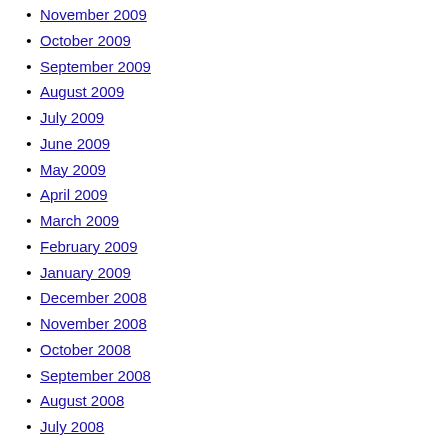November 2009
October 2009
September 2009
August 2009
July 2009
June 2009
May 2009
April 2009
March 2009
February 2009
January 2009
December 2008
November 2008
October 2008
September 2008
August 2008
July 2008
June 2008
May 2008
April 2008
March 2008
February 2008